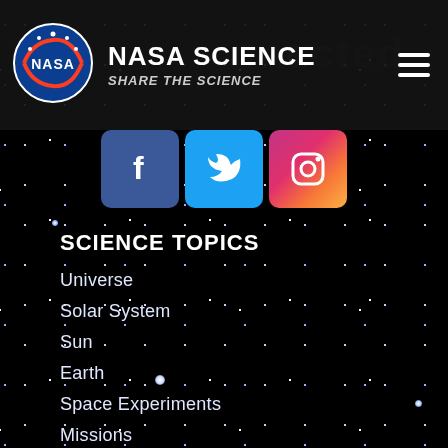[Figure (screenshot): NASA Science website navigation page with header, social media icons (Facebook, Twitter, Instagram), and Science Topics menu on a space/stars background]
NASA SCIENCE – SHARE THE SCIENCE
SCIENCE TOPICS
Universe
Solar System
Sun
Earth
Space Experiments
Missions
Science-enabling Technology
Science Activation